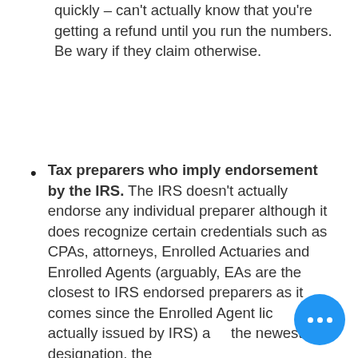quickly – can't actually know that you're getting a refund until you run the numbers.  Be wary if they claim otherwise.
Tax preparers who imply endorsement by the IRS. The IRS doesn't actually endorse any individual preparer although it does recognize certain credentials such as CPAs, attorneys, Enrolled Actuaries and Enrolled Agents (arguably, EAs are the closest to IRS endorsed preparers as it comes since the Enrolled Agent license is actually issued by IRS) and the newest designation, the